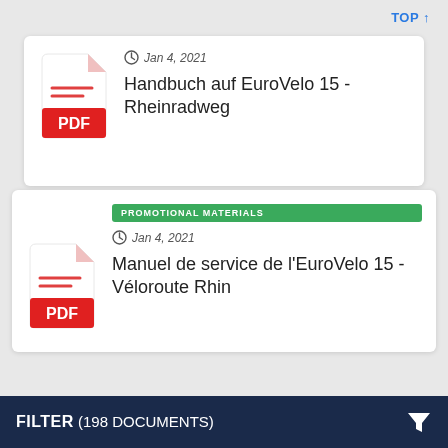TOP ↑
[Figure (illustration): Red PDF file icon for Handbuch auf EuroVelo 15 - Rheinradweg]
Jan 4, 2021
Handbuch auf EuroVelo 15 - Rheinradweg
PROMOTIONAL MATERIALS
[Figure (illustration): Red PDF file icon for Manuel de service de l'EuroVelo 15 - Véloroute Rhin]
Jan 4, 2021
Manuel de service de l'EuroVelo 15 - Véloroute Rhin
FILTER (198 DOCUMENTS)